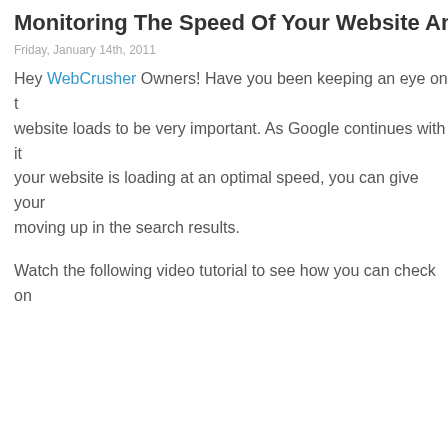Monitoring The Speed Of Your Website And M
Friday, January 14th, 2011
Hey WebCrusher Owners! Have you been keeping an eye on the speed your website loads to be very important. As Google continues with it your website is loading at an optimal speed, you can give your moving up in the search results.
Watch the following video tutorial to see how you can check on